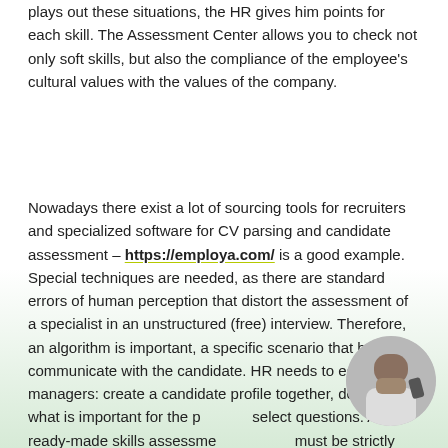plays out these situations, the HR gives him points for each skill. The Assessment Center allows you to check not only soft skills, but also the compliance of the employee's cultural values with the values of the company.
Nowadays there exist a lot of sourcing tools for recruiters and specialized software for CV parsing and candidate assessment – https://employa.com/ is a good example. Special techniques are needed, as there are standard errors of human perception that distort the assessment of a specialist in an unstructured (free) interview. Therefore, an algorithm is important, a specific scenario that helps to communicate with the candidate. HR needs to educate managers: create a candidate profile together, determine what is important for the position, select questions. A ready-made skills assessment checklist must be strictly followed, but it does not give a 100% guarantee of choosing the right candidate, but shows...
[Figure (photo): Circular avatar photo of a person in the bottom-right corner of the page]